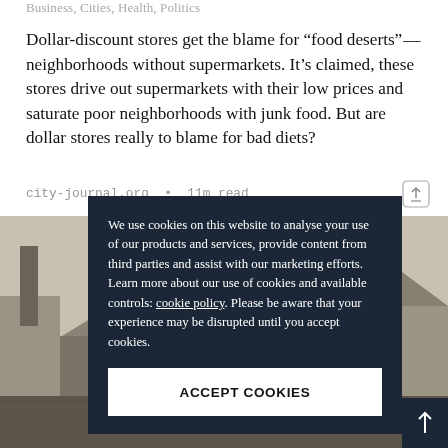Business, Cities, Health, Politics
Dollar-discount stores get the blame for “food deserts”—neighborhoods without supermarkets. It’s claimed, these stores drive out supermarkets with their low prices and saturate poor neighborhoods with junk food. But are dollar stores really to blame for bad diets?
city-journal.org • 11m read
[Figure (photo): Black and white historical photograph of an industrial or rural building scene, partially obscured by a cookie consent modal overlay.]
We use cookies on this website to analyse your use of our products and services, provide content from third parties and assist with our marketing efforts. Learn more about our use of cookies and available controls: cookie policy. Please be aware that your experience may be disrupted until you accept cookies.
ACCEPT COOKIES